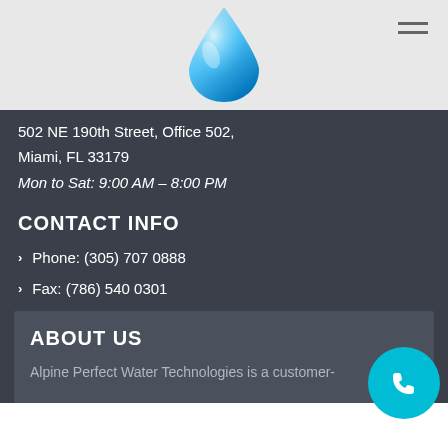[Figure (logo): Blue water drop logo in header]
502 NE 190th Street, Office 502,
Miami, FL 33179
Mon to Sat: 9:00 AM – 8:00 PM
CONTACT INFO
Phone: (305) 707 0888
Fax: (786) 540 0301
ABOUT US
Alpine Perfect Water Technologies is a customer-